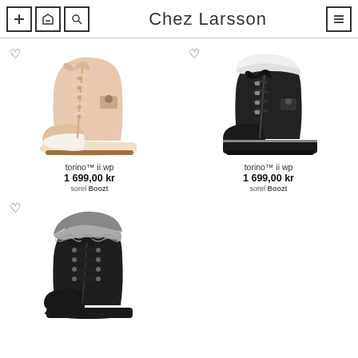Chez Larsson
[Figure (photo): Light pink/beige Sorel Torino II WP winter boot with lace-up front and cream rubber sole]
torino™ ii wp
1 699,00 kr
sorel Boozt
[Figure (photo): Black Sorel Torino II WP winter boot with fur trim at collar and black laces]
torino™ ii wp
1 699,00 kr
sorel Boozt
[Figure (photo): Black winter ankle boot with fur trim collar, lace-up front with ribbon laces]